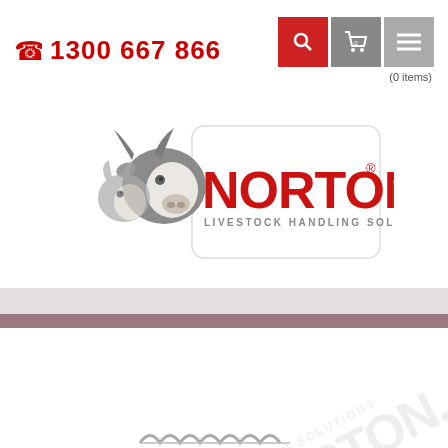☎ 1300 667 866
[Figure (logo): Norton Livestock Handling Solutions logo with cow and goat illustration and red NORTON® text with tagline LIVESTOCK HANDLING SOLUTIONS]
(0 items)